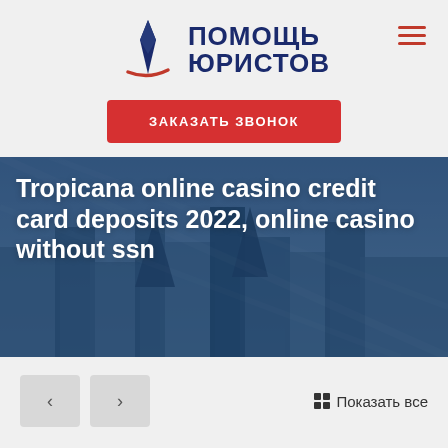[Figure (logo): Помощь Юристов logo with pen/feather icon and red swoosh]
ЗАКАЗАТЬ ЗВОНОК
Tropicana online casino credit card deposits 2022, online casino without ssn
‹ › Показать все
18.06.2022